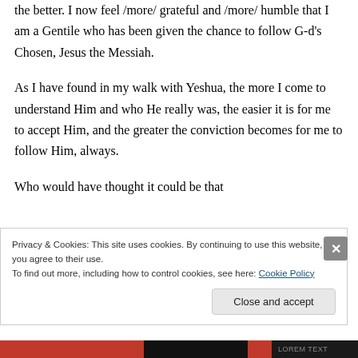the better. I now feel /more/ grateful and /more/ humble that I am a Gentile who has been given the chance to follow G-d's Chosen, Jesus the Messiah.
As I have found in my walk with Yeshua, the more I come to understand Him and who He really was, the easier it is for me to accept Him, and the greater the conviction becomes for me to follow Him, always.
Who would have thought it could be that
Privacy & Cookies: This site uses cookies. By continuing to use this website, you agree to their use.
To find out more, including how to control cookies, see here: Cookie Policy
Close and accept